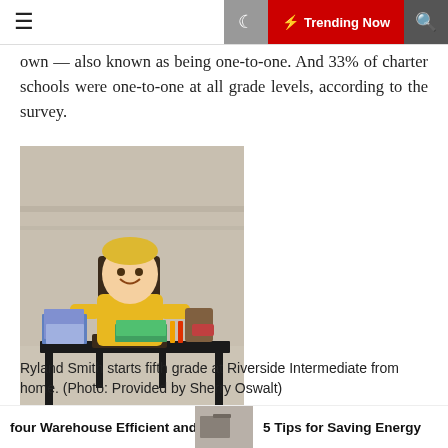≡  🌙  ⚡ Trending Now  🔍
own — also known as being one-to-one. And 33% of charter schools were one-to-one at all grade levels, according to the survey.
[Figure (photo): Young boy in a yellow shirt sitting at a school desk with books, notebooks, and school supplies, smiling at the camera. Appears to be at home or in a large open space.]
Ryland Smith starts fifth grade at Riverside Intermediate from home. (Photo: Provided by Sherry Oswalt)
four Warehouse Efficient and   5 Tips for Saving Energy